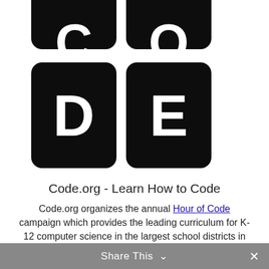[Figure (logo): Code.org logo showing four black rounded square tiles arranged in a 2x2 grid. Top row shows letters C and O (partially cropped). Bottom row shows letters D and E in white on black.]
Code.org - Learn How to Code
Code.org organizes the annual Hour of Code campaign which provides the leading curriculum for K-12 computer science in the largest school districts in the United States.
Share This ∨  ✕